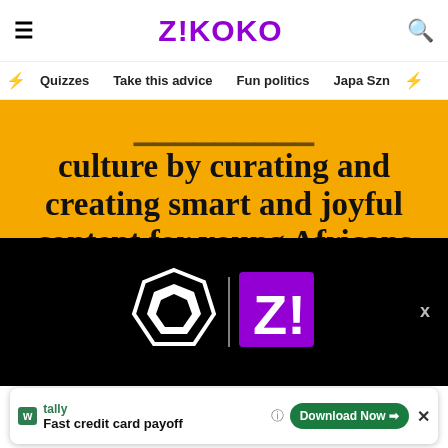Z!KOKO
Quizzes | Take this advice | Fun politics | Japa Szn
culture by curating and creating smart and joyful content for young Africans and the world.
[Figure (logo): Zikoko logo on black background — white geometric shield/hexagon icon and purple square Z! logo]
[Figure (other): Advertisement bar: Tally - Fast credit card payoff - Download Now button]